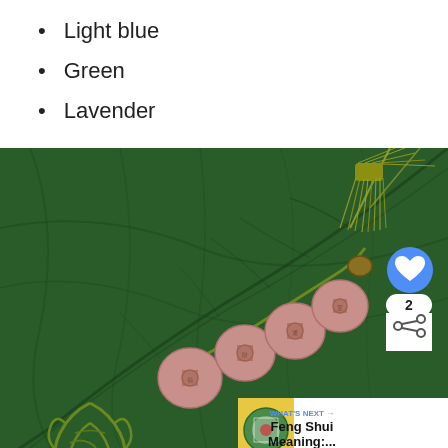Light blue
Green
Lavender
[Figure (photo): Chinese feng shui coins with a green tassel on a large green leaf background, with social media UI overlays (heart button, share button with count '2', and a 'What's Next' banner for 'Feng Shui Meaning:...')]